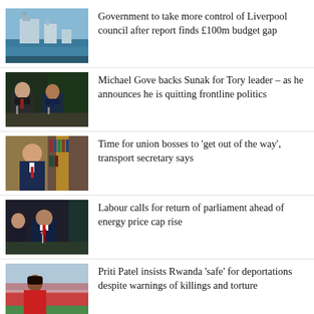[Figure (photo): Aerial/ground view of the Royal Liver Building in Liverpool]
Government to take more control of Liverpool council after report finds £100m budget gap
[Figure (photo): Michael Gove and Rishi Sunak seated at a table in parliament]
Michael Gove backs Sunak for Tory leader – as he announces he is quitting frontline politics
[Figure (photo): Grant Shapps speaking with a bookcase and yellow flag behind him]
Time for union bosses to 'get out of the way', transport secretary says
[Figure (photo): Keir Starmer and Rachel Reeves in parliament]
Labour calls for return of parliament ahead of energy price cap rise
[Figure (photo): Priti Patel in red jacket standing in front of a stadium]
Priti Patel insists Rwanda 'safe' for deportations despite warnings of killings and torture